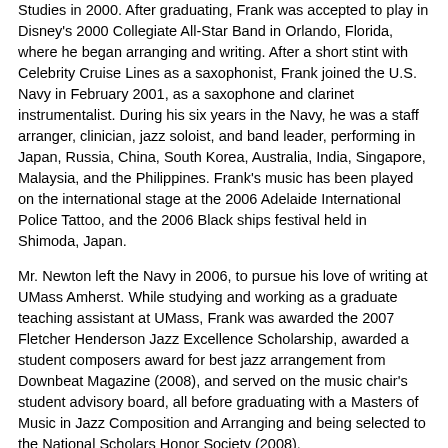Studies in 2000. After graduating, Frank was accepted to play in Disney's 2000 Collegiate All-Star Band in Orlando, Florida, where he began arranging and writing. After a short stint with Celebrity Cruise Lines as a saxophonist, Frank joined the U.S. Navy in February 2001, as a saxophone and clarinet instrumentalist. During his six years in the Navy, he was a staff arranger, clinician, jazz soloist, and band leader, performing in Japan, Russia, China, South Korea, Australia, India, Singapore, Malaysia, and the Philippines. Frank's music has been played on the international stage at the 2006 Adelaide International Police Tattoo, and the 2006 Black ships festival held in Shimoda, Japan.
Mr. Newton left the Navy in 2006, to pursue his love of writing at UMass Amherst. While studying and working as a graduate teaching assistant at UMass, Frank was awarded the 2007 Fletcher Henderson Jazz Excellence Scholarship, awarded a student composers award for best jazz arrangement from Downbeat Magazine (2008), and served on the music chair's student advisory board, all before graduating with a Masters of Music in Jazz Composition and Arranging and being selected to the National Scholars Honor Society (2008). In February 2009, while teaching at Amherst College, Franklin was selected as the 2009 Robin McBride Commissioned Composer for the